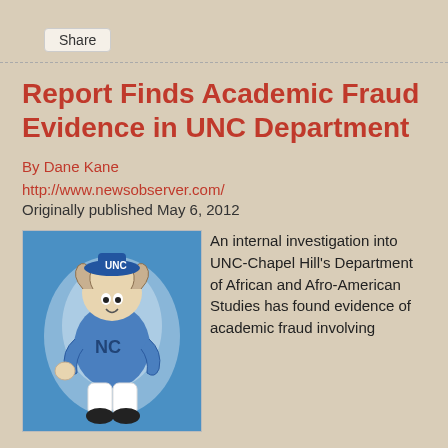Share
Report Finds Academic Fraud Evidence in UNC Department
By Dane Kane
http://www.newsobserver.com/
Originally published May 6, 2012
[Figure (illustration): UNC Tar Heels mascot illustration — a cartoon ram in a blue UNC jersey against a blue swirling background]
An internal investigation into UNC-Chapel Hill's Department of African and Afro-American Studies has found evidence of academic fraud involving